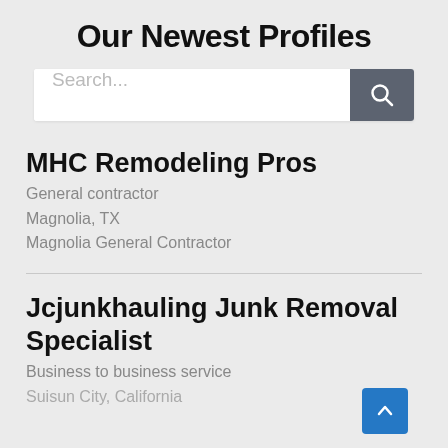Our Newest Profiles
[Figure (screenshot): Search bar with placeholder text 'Search...' and a dark grey search button with magnifying glass icon]
MHC Remodeling Pros
General contractor
Magnolia, TX
Magnolia General Contractor
Jcjunkhauling Junk Removal Specialist
Business to business service
Suisun City, California